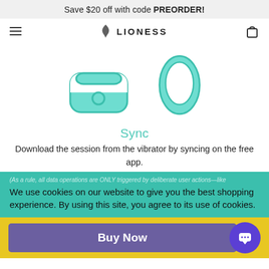Save $20 off with code PREORDER!
[Figure (logo): Lioness brand logo with stylized flame icon and text LIONESS, plus hamburger menu and bag icon]
[Figure (illustration): Two teal product illustrations: a charging dock/cradle and a teardrop-shaped vibrator device]
Sync
Download the session from the vibrator by syncing on the free app.
(As a rule, all data operations are ONLY triggered by deliberate user actions—like
We use cookies on our website to give you the best shopping experience. By using this site, you agree to its use of cookies.
Buy Now